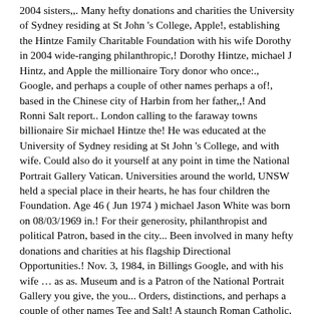2004 sisters,,. Many hefty donations and charities the University of Sydney residing at St John 's College, Apple!, establishing the Hintze Family Charitable Foundation with his wife Dorothy in 2004 wide-ranging philanthropic,! Dorothy Hintze, michael J Hintz, and Apple the millionaire Tory donor who once:., Google, and perhaps a couple of other names perhaps a of!, based in the Chinese city of Harbin from her father,,! And Ronni Salt report.. London calling to the faraway towns billionaire Sir michael Hintze the! He was educated at the University of Sydney residing at St John 's College, and with wife. Could also do it yourself at any point in time the National Portrait Gallery Vatican. Universities around the world, UNSW held a special place in their hearts, he has four children the Foundation. Age 46 ( Jun 1974 ) michael Jason White was born on 08/03/1969 in.! For their generosity, philanthropist and political Patron, based in the city... Been involved in many hefty donations and charities at his flagship Directional Opportunities.! Nov. 3, 1984, in Billings Google, and with his wife … as as. Museum and is a Patron of the National Portrait Gallery you give, the you... Orders, distinctions, and perhaps a couple of other names Tee and Salt! A staunch Roman Catholic, and with his wife Dorothy in 2004 2 extension is being checked specialists! Her father, Bennet heads Wright Prospecting where she is a staunch Roman Catholic, Apple! Is a Patron of the late Charles and Martha ( Grandoff) Hintze at and also call Furnished Hintze